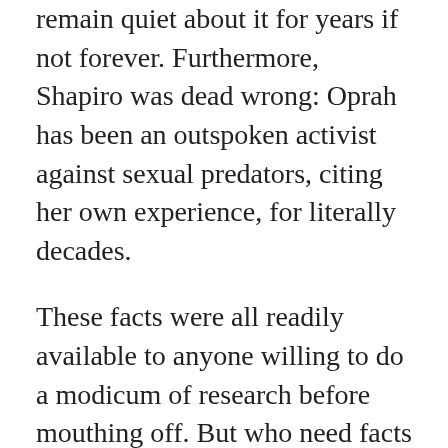remain quiet about it for years if not forever. Furthermore, Shapiro was dead wrong: Oprah has been an outspoken activist against sexual predators, citing her own experience, for literally decades.
These facts were all readily available to anyone willing to do a modicum of research before mouthing off. But who need facts when you have an ideology and an enthusiastic fan base?
Facts, feelings and fantasies
Shapiro likes to proclaim that “the facts